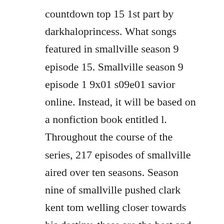countdown top 15 1st part by darkhaloprincess. What songs featured in smallville season 9 episode 15. Smallville season 9 episode 1 9x01 s09e01 savior online. Instead, it will be based on a nonfiction book entitled l. Throughout the course of the series, 217 episodes of smallville aired over ten seasons. Season nine of smallville pushed clark kent tom welling closer towards his destiny, these are the best and worst episodes in season. Smallville season 9 episode 15 conspiracy trailer youtube. Watch smallville season 9 episode 15 online via tv fanatic with